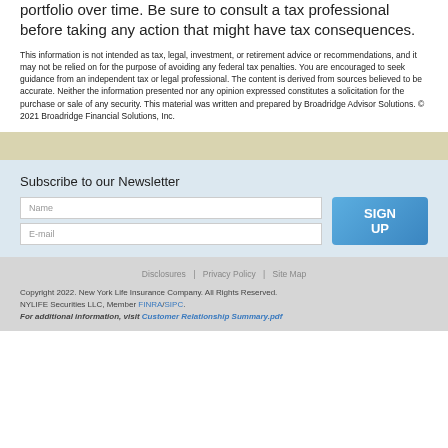portfolio over time. Be sure to consult a tax professional before taking any action that might have tax consequences.
This information is not intended as tax, legal, investment, or retirement advice or recommendations, and it may not be relied on for the purpose of avoiding any federal tax penalties. You are encouraged to seek guidance from an independent tax or legal professional. The content is derived from sources believed to be accurate. Neither the information presented nor any opinion expressed constitutes a solicitation for the purchase or sale of any security. This material was written and prepared by Broadridge Advisor Solutions. © 2021 Broadridge Financial Solutions, Inc.
Subscribe to our Newsletter
Name
E-mail
SIGN UP
Disclosures | Privacy Policy | Site Map
Copyright 2022. New York Life Insurance Company. All Rights Reserved. NYLIFE Securities LLC, Member FINRA/SIPC. For additional information, visit Customer Relationship Summary.pdf